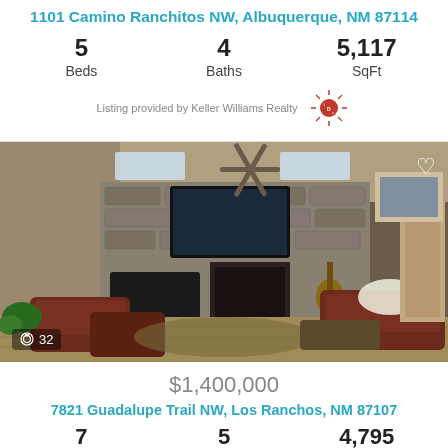1101 Camino Ranchitos NW, Albuquerque, NM 87114
| Beds | Baths | SqFt |
| --- | --- | --- |
| 5 | 4 | 5,117 |
Listing provided by Keller Williams Realty
[Figure (photo): Interior photo of a living room with stone fireplace, large flat-screen TV, guitar, leather sofas, ceiling fan, and hardwood floors. Photo count overlay shows 32 images.]
$1,400,000
7821 Guadalupe Trail NW, Los Ranchos, NM 87107
| Beds | Baths | SqFt |
| --- | --- | --- |
| 7 | 5 | 4,795 |